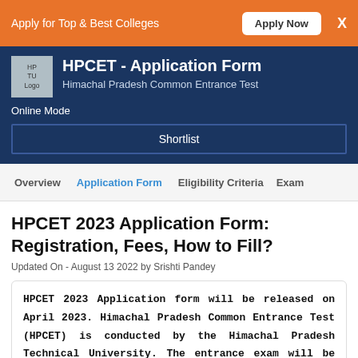Apply for Top & Best Colleges  Apply Now  X
HPCET - Application Form
Himachal Pradesh Common Entrance Test
Online Mode
Shortlist
Overview  Application Form  Eligibility Criteria  Exam
HPCET 2023 Application Form: Registration, Fees, How to Fill?
Updated On - August 13 2022 by Srishti Pandey
HPCET 2023 Application form will be released on April 2023. Himachal Pradesh Common Entrance Test (HPCET) is conducted by the Himachal Pradesh Technical University. The entrance exam will be conducted on July